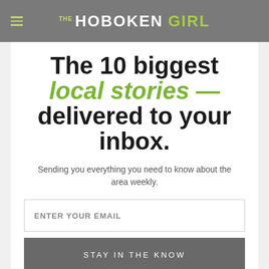THE HOBOKEN GIRL
The 10 biggest local stories — delivered to your inbox.
Sending you everything you need to know about the area weekly.
ENTER YOUR EMAIL
STAY IN THE KNOW